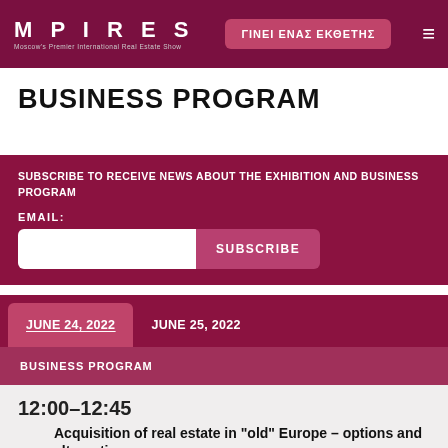MPIRES | ΓΙΝΕΙ ΕΝΑΣ ΕΚΘΕΤΗΣ
BUSINESS PROGRAM
SUBSCRIBE TO RECEIVE NEWS ABOUT THE EXHIBITION AND BUSINESS PROGRAM
EMAIL:
SUBSCRIBE
JUNE 24, 2022 | JUNE 25, 2022
BUSINESS PROGRAM
12:00–12:45
Acquisition of real estate in "old" Europe – options and alternatives
What are the opportunities for investors